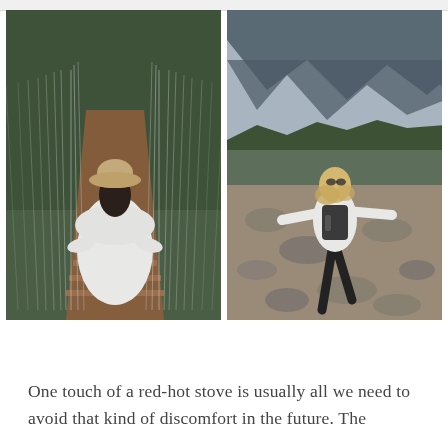[Figure (photo): Two travel/lifestyle photos side by side. Left: A woman seen from behind wearing a wide-brim hat and white sweater, standing on a wooden suspension bridge surrounded by tall vertical strings/cables and lush green forest. Right: A woman with long blonde hair wearing a white jacket and carrying a dark backpack, walking along a rocky mountain trail with arms spread wide, mountains and valley visible in background.]
One touch of a red-hot stove is usually all we need to avoid that kind of discomfort in the future. The